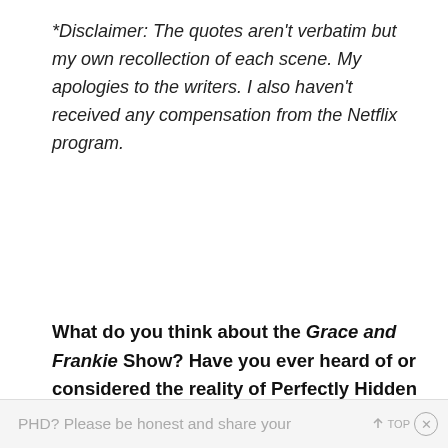*Disclaimer: The quotes aren't verbatim but my own recollection of each scene. My apologies to the writers. I also haven't received any compensation from the Netflix program.
What do you think about the Grace and Frankie Show? Have you ever heard of or considered the reality of Perfectly Hidden Depression? Do you know someone (or are you?) suffering from
PHD? Please be honest and share your